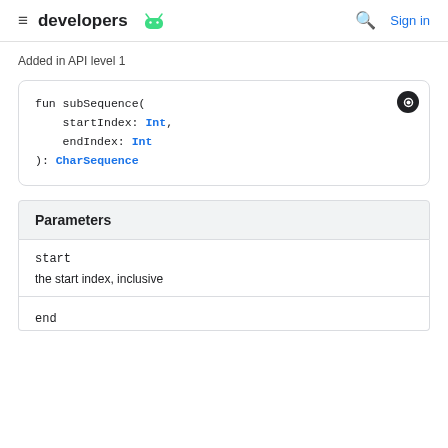developers  Sign in
Added in API level 1
[Figure (screenshot): Code block showing: fun subSequence(startIndex: Int, endIndex: Int): CharSequence]
Parameters
start
the start index, inclusive
end